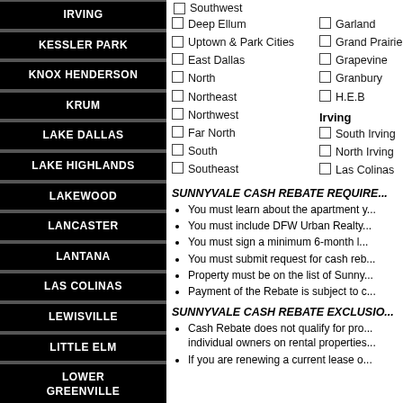IRVING
KESSLER PARK
KNOX HENDERSON
KRUM
LAKE DALLAS
LAKE HIGHLANDS
LAKEWOOD
LANCASTER
LANTANA
LAS COLINAS
LEWISVILLE
LITTLE ELM
LOWER GREENVILLE
LUCAS
Southwest (partial, top)
Deep Ellum
Uptown & Park Cities
East Dallas
North
Northeast
Northwest
Far North
South
Southeast
Garland
Grand Prairie
Grapevine
Granbury
H.E.B
Irving
South Irving
North Irving
Las Colinas
SUNNYVALE CASH REBATE REQUIRE...
You must learn about the apartment y...
You must include DFW Urban Realty...
You must sign a minimum 6-month l...
You must submit request for cash reb...
Property must be on the list of Sunny...
Payment of the Rebate is subject to c...
SUNNYVALE CASH REBATE EXCLUSIO...
Cash Rebate does not qualify for pro... individual owners on rental properties...
If you are renewing a current lease o...